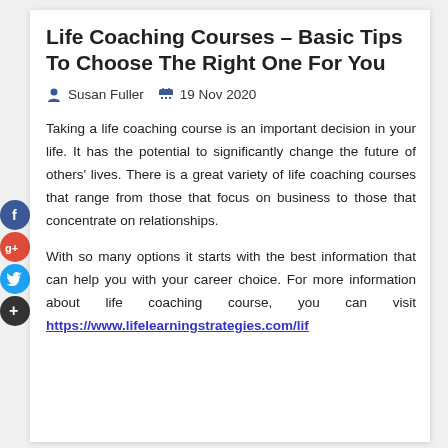Life Coaching Courses – Basic Tips To Choose The Right One For You
Susan Fuller   19 Nov 2020
Taking a life coaching course is an important decision in your life. It has the potential to significantly change the future of others' lives. There is a great variety of life coaching courses that range from those that focus on business to those that concentrate on relationships.
With so many options it starts with the best information that can help you with your career choice. For more information about life coaching course, you can visit https://www.lifelearningstrategies.com/lif...